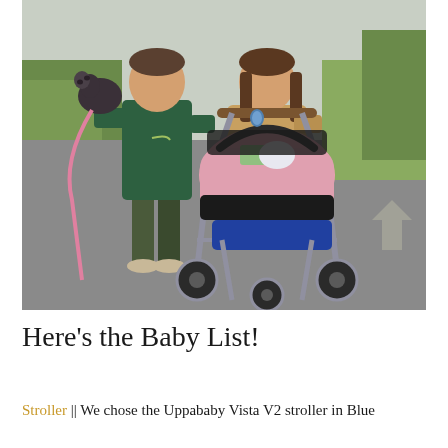[Figure (photo): A couple walking on a paved path outdoors. The man on the left is wearing a green t-shirt and camo shorts, holding a small dark-colored dog with a pink leash. The woman on the right is wearing a tan/beige fleece jacket and pushing a baby stroller (Uppababy Vista V2) with a pink infant insert/cover. Green grass and trees visible in the background.]
Here's the Baby List!
Stroller || We chose the Uppababy Vista V2 stroller in Blue